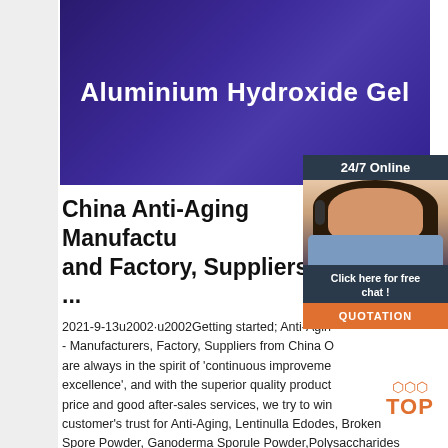[Figure (photo): Purple/dark blue product banner with white bold text 'Aluminium Hydroxide Gel']
China Anti-Aging Manufacturers and Factory, Suppliers ...
2021-9-13u2002·u2002Getting started; Anti-Aging - Manufacturers, Factory, Suppliers from China Our are always in the spirit of 'continuous improvement, excellence', and with the superior quality products, the price and good after-sales services, we try to win every customer's trust for Anti-Aging, Lentinulla Edodes, Broken Spore Powder, Ganoderma Sporule Powder,Polysaccharides ...
[Figure (photo): Customer service representative with headset, 24/7 Online chat widget with 'Click here for free chat!' and orange QUOTATION button]
Get Price